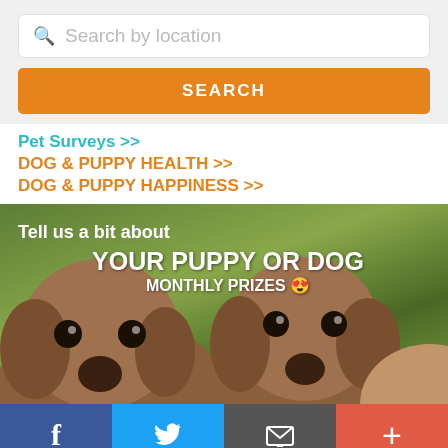Search by location
SEARCH
Pet Surveys >>
DOG & PUPPY HEALTH >>
DOG & PUPPY HAPPINESS >>
[Figure (photo): Banner image with two dachshund puppies looking at camera against green blurred background, with text overlay: 'Tell us a bit about YOUR PUPPY OR DOG MONTHLY PRIZES 😍']
f
Twitter bird icon
Email icon
+